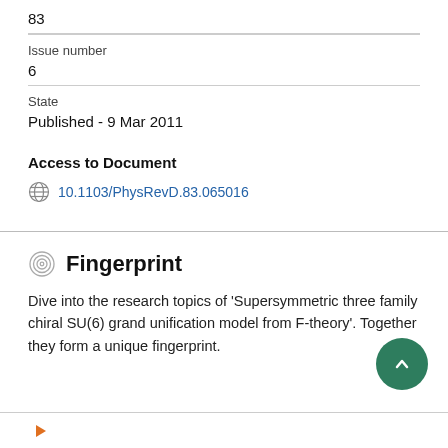83
Issue number
6
State
Published - 9 Mar 2011
Access to Document
10.1103/PhysRevD.83.065016
Fingerprint
Dive into the research topics of 'Supersymmetric three family chiral SU(6) grand unification model from F-theory'. Together they form a unique fingerprint.